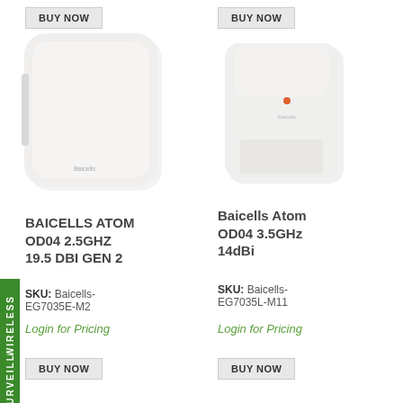[Figure (photo): Photo of Baicells ATOM OD04 2.5GHz 19.5 DBI GEN 2 wireless device - white rounded square box]
[Figure (photo): Photo of Baicells Atom OD04 3.5GHz 14dBi wireless device - white rounded rectangular enclosure]
BUY NOW
BUY NOW
BAICELLS ATOM OD04 2.5GHZ 19.5 DBI GEN 2
SKU: Baicells-EG7035E-M2
Login for Pricing
Baicells Atom OD04 3.5GHz 14dBi
SKU: Baicells-EG7035L-M11
Login for Pricing
BUY NOW
BUY NOW
WIRELESS
SURVEILLA...